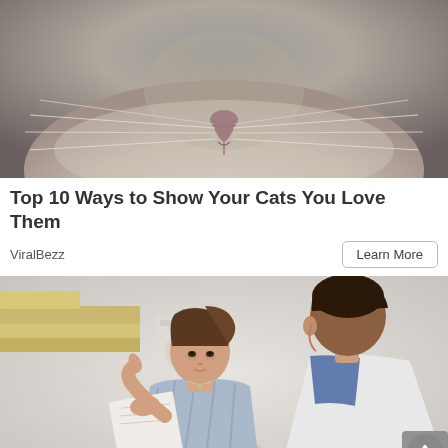[Figure (photo): Close-up photo of a cat's face, showing nose and whiskers, gray and white fur]
Top 10 Ways to Show Your Cats You Love Them
ViralBezz
[Figure (photo): Photo of a young woman and a man in a discussion, appears to be an office or medical setting, woman holding papers and gesturing]